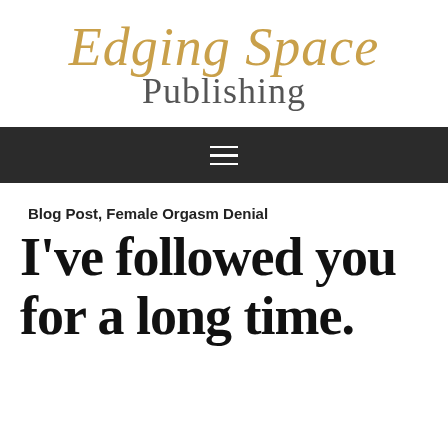[Figure (logo): Edging Space Publishing logo with script golden text 'Edging Space' and serif gray 'Publishing' below]
[Figure (other): Dark navigation bar with hamburger menu icon (three horizontal white lines)]
Blog Post, Female Orgasm Denial
I've followed you for a long time.